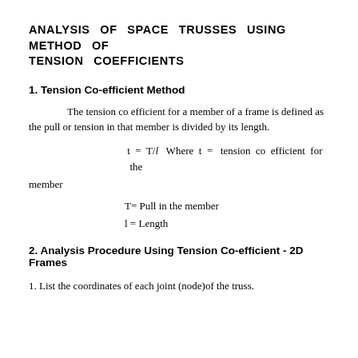ANALYSIS OF SPACE TRUSSES USING METHOD OF TENSION COEFFICIENTS
1. Tension Co-efficient Method
The tension co efficient for a member of a frame is defined as the pull or tension in that member is divided by its length.
T= Pull in the member
l = Length
2. Analysis Procedure Using Tension Co-efficient - 2D Frames
1. List the coordinates of each joint (node)of the truss.